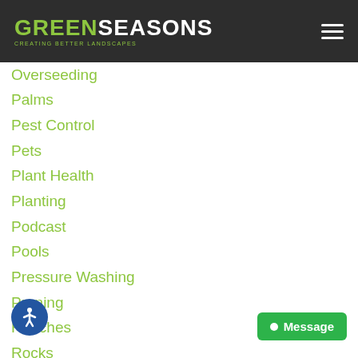GREEN SEASONS — CREATING BETTER LANDSCAPES
Overseeding
Palms
Pest Control
Pets
Plant Health
Planting
Podcast
Pools
Pressure Washing
Pruning
Roaches
Rocks
Rodent Control
Roses
Rye Grass
Shrub